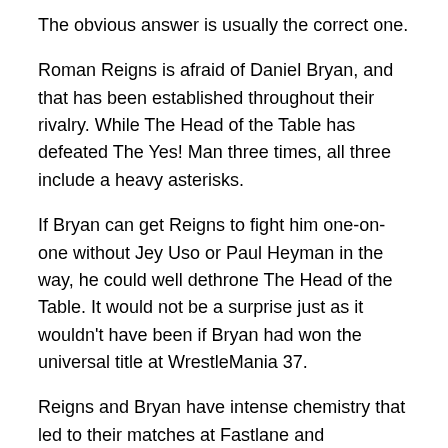The obvious answer is usually the correct one.
Roman Reigns is afraid of Daniel Bryan, and that has been established throughout their rivalry. While The Head of the Table has defeated The Yes! Man three times, all three include a heavy asterisks.
If Bryan can get Reigns to fight him one-on-one without Jey Uso or Paul Heyman in the way, he could well dethrone The Head of the Table. It would not be a surprise just as it wouldn't have been if Bryan had won the universal title at WrestleMania 37.
Reigns and Bryan have intense chemistry that led to their matches at Fastlane and WrestleMania being among the best of 2021 already. This is a contest that can be revisited, even [Previous] [Next] ercome Edge.
The action and chemistry between these two men is clear, and